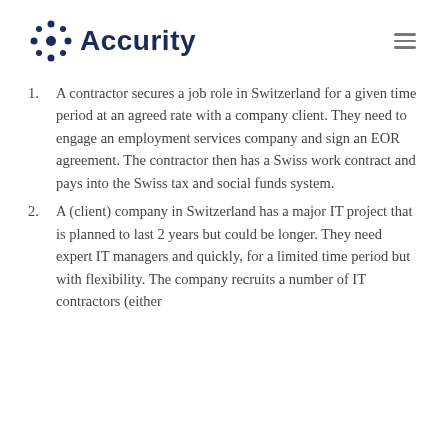Accurity
A contractor secures a job role in Switzerland for a given time period at an agreed rate with a company client. They need to engage an employment services company and sign an EOR agreement. The contractor then has a Swiss work contract and pays into the Swiss tax and social funds system.
A (client) company in Switzerland has a major IT project that is planned to last 2 years but could be longer. They need expert IT managers and quickly, for a limited time period but with flexibility. The company recruits a number of IT contractors (either